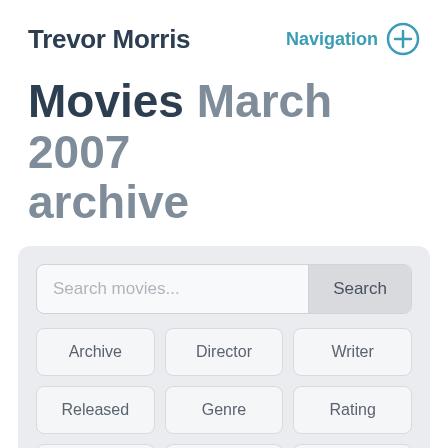Trevor Morris
Movies March 2007 archive
Search movies...
Archive
Director
Writer
Released
Genre
Rating
Language
Reviews
Stats